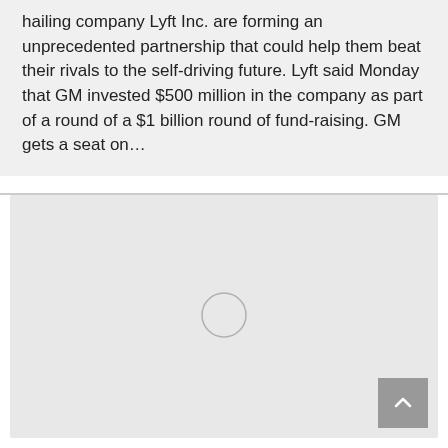hailing company Lyft Inc. are forming an unprecedented partnership that could help them beat their rivals to the self-driving future. Lyft said Monday that GM invested $500 million in the company as part of a round of a $1 billion round of fund-raising. GM gets a seat on…
[Figure (other): A light grey placeholder image area with a circular spinner/loading indicator in the center, indicating an image or video is loading.]